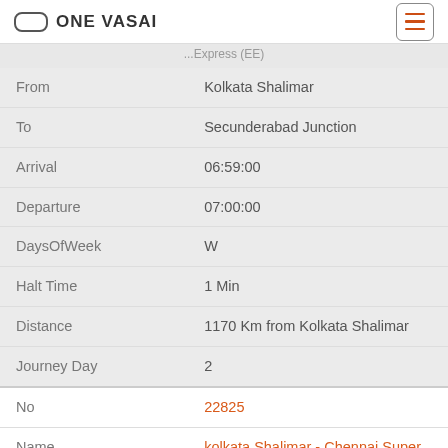ONE VASAI
| Field | Value |
| --- | --- |
| From | Kolkata Shalimar |
| To | Secunderabad Junction |
| Arrival | 06:59:00 |
| Departure | 07:00:00 |
| DaysOfWeek | W |
| Halt Time | 1 Min |
| Distance | 1170 Km from Kolkata Shalimar |
| Journey Day | 2 |
| No | 22825 |
| Name | kolkata Shalimar - Chennai Super Fast Express (EE) |